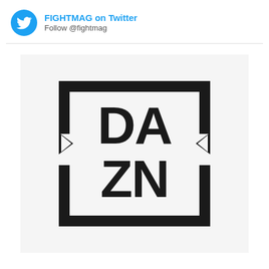FIGHTMAG on Twitter
Follow @fightmag
[Figure (logo): DAZN logo — bold dark square border with notched left/right sides and large 'DAZN' letters inside arranged in two rows: 'DA' on top, 'ZN' on bottom]